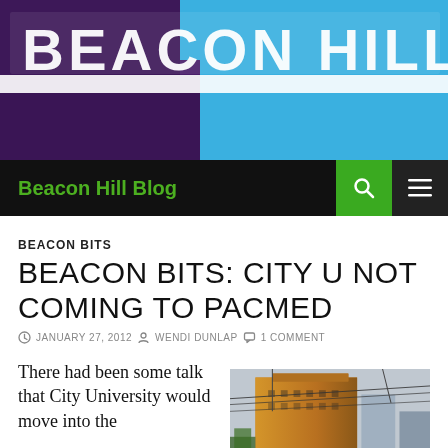[Figure (photo): Header photo of Beacon Hill Station sign with blue sky background and purple building facade]
Beacon Hill Blog
BEACON BITS
BEACON BITS: CITY U NOT COMING TO PACMED
JANUARY 27, 2012  WENDI DUNLAP  1 COMMENT
There had been some talk that City University would move into the
[Figure (photo): Photo of a tall brick building (PacMed) with power lines in foreground and city buildings behind, warm golden light]